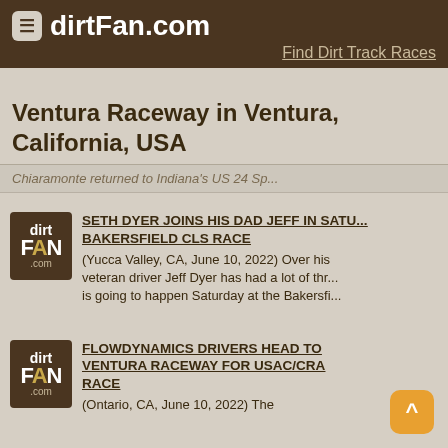dirtFan.com — Find Dirt Track Races
Ventura Raceway in Ventura, California, USA
Chiaramonte returned to Indiana's US 24 Sp...
SETH DYER JOINS HIS DAD JEFF IN SATU... BAKERSFIELD CLS RACE
(Yucca Valley, CA, June 10, 2022) Over his veteran driver Jeff Dyer has had a lot of thr... is going to happen Saturday at the Bakersfi...
FLOWDYNAMICS DRIVERS HEAD TO VENTURA RACEWAY FOR USAC/CRA RACE
(Ontario, CA, June 10, 2022) The